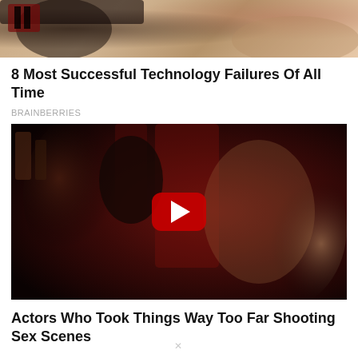[Figure (photo): Partial view of a person's torso/legs, cropped at top of page]
8 Most Successful Technology Failures Of All Time
BRAINBERRIES
[Figure (screenshot): Video thumbnail showing two people in a dark red room scene, with a YouTube-style red play button overlay]
Actors Who Took Things Way Too Far Shooting Sex Scenes